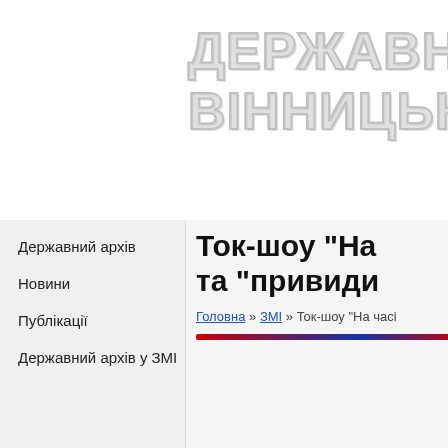ДЕРЖАВНИ ВІННИЦЬКО
Державний архів
Новини
Публікації
Державний архів у ЗМІ
Ток-шоу "На часі" та "привиди
Головна » ЗМІ » Ток-шоу "На часі